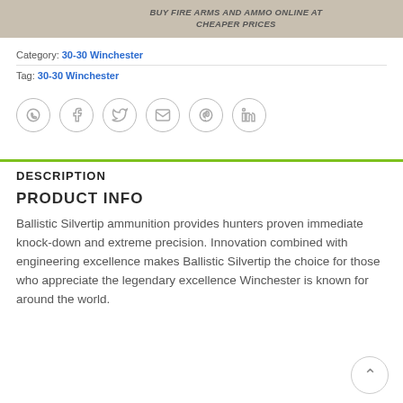[Figure (screenshot): Top banner with beige/tan background showing partial icons]
BUY FIRE ARMS AND AMMO ONLINE AT CHEAPER PRICES
Category: 30-30 Winchester
Tag: 30-30 Winchester
[Figure (infographic): Row of 6 social share icon circles: WhatsApp, Facebook, Twitter, Email, Pinterest, LinkedIn]
DESCRIPTION
PRODUCT INFO
Ballistic Silvertip ammunition provides hunters proven immediate knock-down and extreme precision. Innovation combined with engineering excellence makes Ballistic Silvertip the choice for those who appreciate the legendary excellence Winchester is known for around the world.